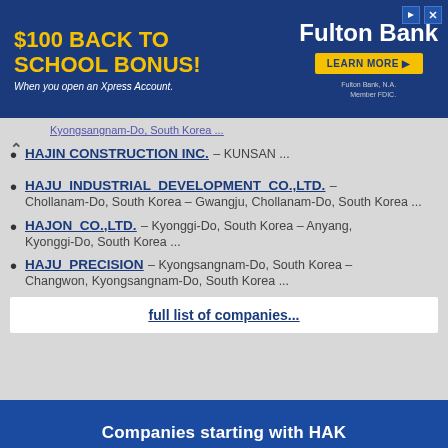[Figure (infographic): Fulton Bank advertisement banner: '$100 BACK TO SCHOOL BONUS! When you open an Xpress Account.' with a 'LEARN MORE' button and Fulton Bank branding on a dark blue background.]
Kyongsangnam-Do, South Korea ...
HAJIN CONSTRUCTION INC. – KUNSAN ...
HAJU INDUSTRIAL DEVELOPMENT CO.,LTD. – Chollanam-Do, South Korea – Gwangju, Chollanam-Do, South Korea ...
HAJON CO.,LTD. – Kyonggi-Do, South Korea – Anyang, Kyonggi-Do, South Korea ...
HAJU PRECISION – Kyongsangnam-Do, South Korea – Changwon, Kyongsangnam-Do, South Korea ...
full list of companies...
Companies starting with HAK